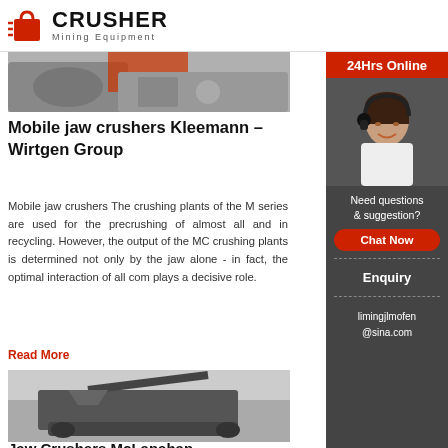CRUSHER Mining Equipment
[Figure (photo): Top cropped image of a mobile jaw crusher machine, gray/white machinery components visible]
Mobile jaw crushers Kleemann – Wirtgen Group
Mobile jaw crushers The crushing plants of the M series are used for the precrushing of almost all and in recycling. However, the output of the MC crushing plants is determined not only by the jaw alone - in fact, the optimal interaction of all com plays a decisive role.
Read More
[Figure (photo): Mobile jaw crusher machine in operation outdoors, tracked crusher with conveyor belt, dusty quarry environment]
Jaw Crushers McLanahan
[Figure (photo): Customer service representative with headset, smiling woman in white blouse against dark background, 24Hrs Online sidebar]
Need questions & suggestion?
Chat Now
Enquiry
limingjlmofen@sina.com